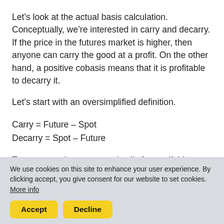Let’s look at the actual basis calculation. Conceptually, we’re interested in carry and decarry. If the price in the futures market is higher, then anyone can carry the good at a profit. On the other hand, a positive cobasis means that it is profitable to decarry it.
Let’s start with an oversimplified definition.
To carry, one buys spot and sells future, if this spread is positive. To decarry, one sells spot and buys future.
We use cookies on this site to enhance your user experience. By clicking accept, you give consent for our website to set cookies. More info